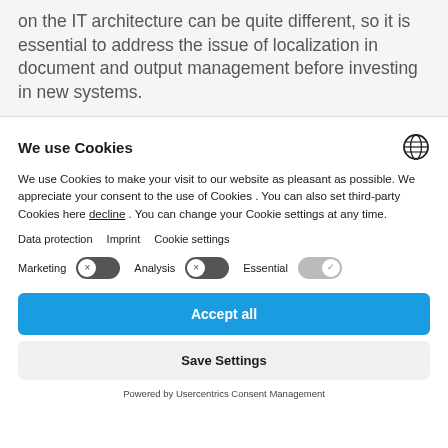on the IT architecture can be quite different, so it is essential to address the issue of localization in document and output management before investing in new systems.
We use Cookies
We use Cookies to make your visit to our website as pleasant as possible. We appreciate your consent to the use of Cookies . You can also set third-party Cookies here decline . You can change your Cookie settings at any time.
Data protection  Imprint  Cookie settings
Marketing  [toggle off]  Analysis  [toggle off]  Essential  [toggle on]
Accept all
Save Settings
Powered by Usercentrics Consent Management